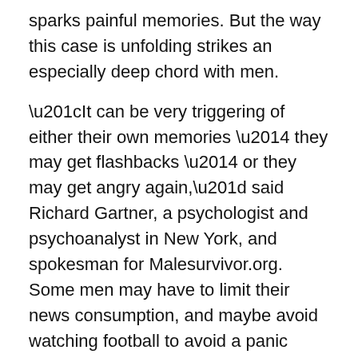sparks painful memories. But the way this case is unfolding strikes an especially deep chord with men.
“It can be very triggering of either their own memories — they may get flashbacks — or they may get angry again,” said Richard Gartner, a psychologist and psychoanalyst in New York, and spokesman for Malesurvivor.org. Some men may have to limit their news consumption, and maybe avoid watching football to avoid a panic attack or bout of depression, he said.
“It is re-traumatizing for them — more so to the extent that they believe that this is being handled wrong … and ignoring the needs of the victims.”
Different experience for boys
Sexual abuse has a different impact on boys than on girls, and they deal with it differently because of socialization